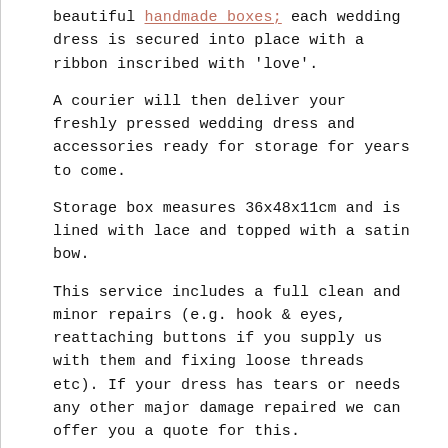beautiful handmade boxes; each wedding dress is secured into place with a ribbon inscribed with 'love'.
A courier will then deliver your freshly pressed wedding dress and accessories ready for storage for years to come.
Storage box measures 36x48x11cm and is lined with lace and topped with a satin bow.
This service includes a full clean and minor repairs (e.g. hook & eyes, reattaching buttons if you supply us with them and fixing loose threads etc). If your dress has tears or needs any other major damage repaired we can offer you a quote for this.
FREE UK wide collection and delivery included.
You can choose a personal message to put on the lid of the box, a wonderful finishing touch. Check out some of our suggestions here if you're